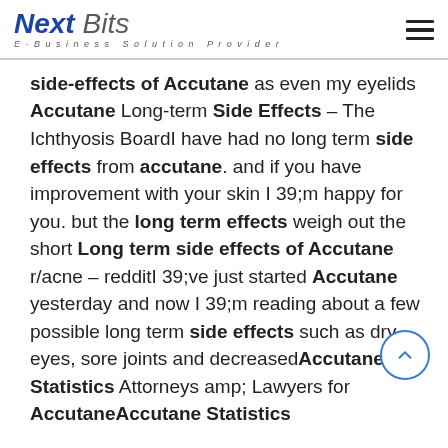Next Bits — E-Business Solution Provider
side-effects of Accutane as even my eyelids Accutane Long-term Side Effects – The Ichthyosis BoardI have had no long term side effects from accutane. and if you have improvement with your skin I 39;m happy for you. but the long term effects weigh out the short Long term side effects of Accutane r/acne – redditI 39;ve just started Accutane yesterday and now I 39;m reading about a few possible long term side effects such as dry eyes, sore joints and decreasedAccutane Statistics Attorneys amp; Lawyers for AccutaneAccutane Statistics